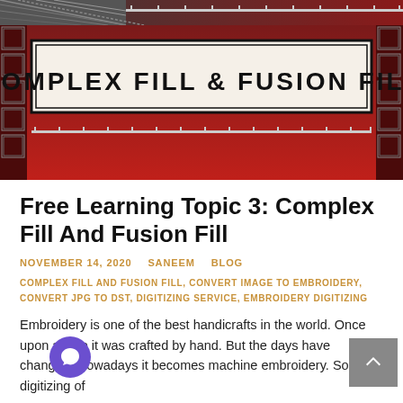[Figure (illustration): Red and dark decorative banner with text 'COMPLEX FILL & FUSION FILL' in bold black letters inside a rectangular border, with geometric corner ornaments and hatched pattern on left side.]
Free Learning Topic 3: Complex Fill And Fusion Fill
NOVEMBER 14, 2020   SANEEM   BLOG
COMPLEX FILL AND FUSION FILL, CONVERT IMAGE TO EMBROIDERY, CONVERT JPG TO DST, DIGITIZING SERVICE, EMBROIDERY DIGITIZING
Embroidery is one of the best handicrafts in the world. Once upon a time it was crafted by hand. But the days have changed. Nowadays it becomes machine embroidery. So, the digitizing of